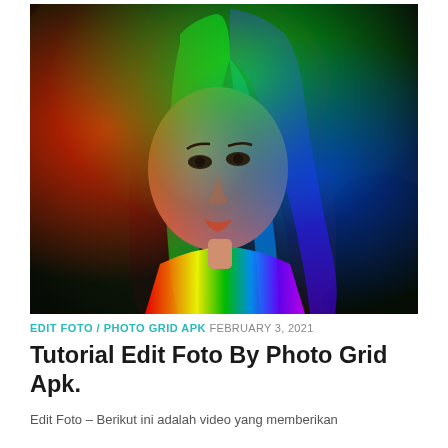[Figure (photo): Portrait photo of a young woman with rainbow-colored light effects overlaid on her face and body. Background is dark. The lighting creates vivid bands of red, green, blue, yellow, and other rainbow colors across her features and clothing.]
EDIT FOTO / PHOTO GRID APK   FEBRUARY 3, 2021
Tutorial Edit Foto By Photo Grid Apk.
Edit Foto – Berikut ini adalah video yang memberikan